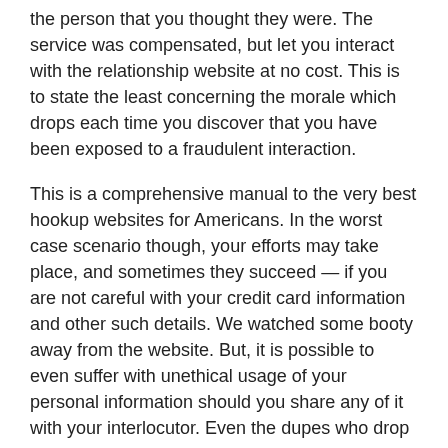the person that you thought they were. The service was compensated, but let you interact with the relationship website at no cost. This is to state the least concerning the morale which drops each time you discover that you have been exposed to a fraudulent interaction.
This is a comprehensive manual to the very best hookup websites for Americans. In the worst case scenario though, your efforts may take place, and sometimes they succeed — if you are not careful with your credit card information and other such details. We watched some booty away from the website. But, it is possible to even suffer with unethical usage of your personal information should you share any of it with your interlocutor. Even the dupes who drop for all these traps only promote more predatory sex websites to pop up and legit users just like me and you are forced to sift through more unworthy dating websites so as to discover the ones that are legit.
It is such clinics which are usually known as "not legit" from the world of adult hookup websites. This is standards we looked for when producing our compiled list of the highest hookup sites for Americans and also the best dating websites for hooking up at the United States as a way. It's possible to